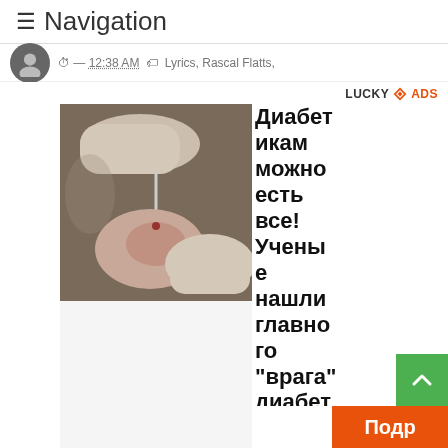≡ Navigation
⏱ — 12:38 AM 🏷 Lyrics, Rascal Flatts,
[Figure (photo): Close-up of gloved hands performing a blood glucose test on a finger]
LUCKY ✦ ADS
Диабетикам можно есть все! Ученые нашли главного "врага" диабета.
Подр